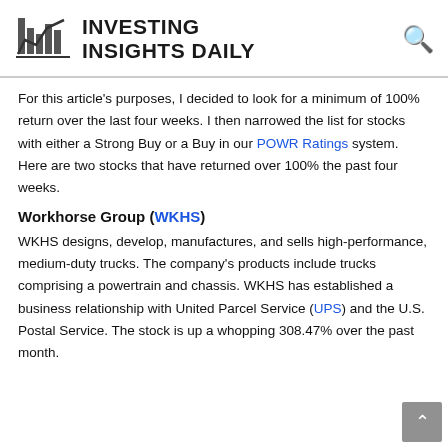INVESTING INSIGHTS DAILY
For this article's purposes, I decided to look for a minimum of 100% return over the last four weeks. I then narrowed the list for stocks with either a Strong Buy or a Buy in our POWR Ratings system. Here are two stocks that have returned over 100% the past four weeks.
Workhorse Group (WKHS)
WKHS designs, develop, manufactures, and sells high-performance, medium-duty trucks. The company's products include trucks comprising a powertrain and chassis. WKHS has established a business relationship with United Parcel Service (UPS) and the U.S. Postal Service. The stock is up a whopping 308.47% over the past month.